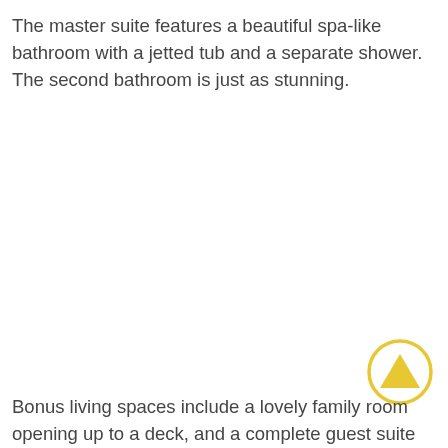The master suite features a beautiful spa-like bathroom with a jetted tub and a separate shower. The second bathroom is just as stunning.
[Figure (other): A circular icon with a yellow/gold border containing a filled upward-pointing triangle (arrow up) in yellow/gold color, used as a navigation or scroll-to-top button.]
Bonus living spaces include a lovely family room opening up to a deck, and a complete guest suite